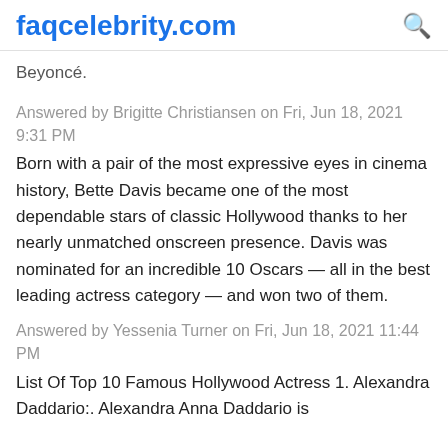faqcelebrity.com
Beyoncé.
Answered by Brigitte Christiansen on Fri, Jun 18, 2021 9:31 PM
Born with a pair of the most expressive eyes in cinema history, Bette Davis became one of the most dependable stars of classic Hollywood thanks to her nearly unmatched onscreen presence. Davis was nominated for an incredible 10 Oscars — all in the best leading actress category — and won two of them.
Answered by Yessenia Turner on Fri, Jun 18, 2021 11:44 PM
List Of Top 10 Famous Hollywood Actress 1. Alexandra Daddario:. Alexandra Anna Daddario is